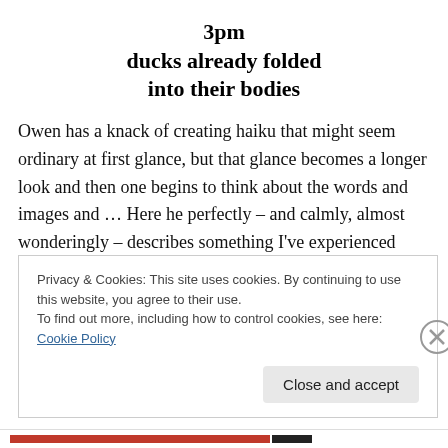3pm
ducks already folded
into their bodies
Owen has a knack of creating haiku that might seem ordinary at first glance, but that glance becomes a longer look and then one begins to think about the words and images and … Here he perfectly – and calmly, almost wonderingly – describes something I've experienced often, but always find frightening until my rational mind can take over.
Privacy & Cookies: This site uses cookies. By continuing to use this website, you agree to their use.
To find out more, including how to control cookies, see here: Cookie Policy
Close and accept